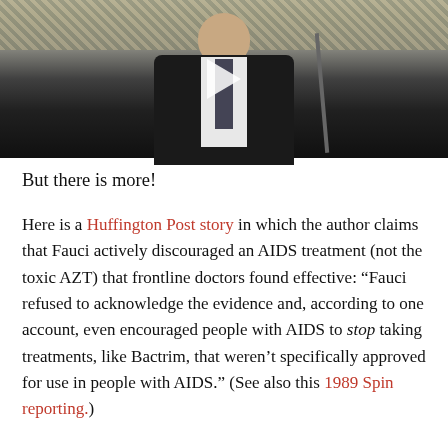[Figure (photo): A man in a dark suit and patterned tie speaking at a microphone, with a decorative background. A video play button is visible in the center of the image.]
But there is more!
Here is a Huffington Post story in which the author claims that Fauci actively discouraged an AIDS treatment (not the toxic AZT) that frontline doctors found effective: “Fauci refused to acknowledge the evidence and, according to one account, even encouraged people with AIDS to stop taking treatments, like Bactrim, that weren’t specifically approved for use in people with AIDS.” (See also this 1989 Spin reporting.)